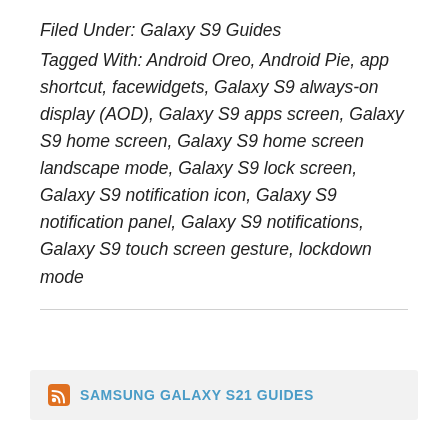Filed Under: Galaxy S9 Guides
Tagged With: Android Oreo, Android Pie, app shortcut, facewidgets, Galaxy S9 always-on display (AOD), Galaxy S9 apps screen, Galaxy S9 home screen, Galaxy S9 home screen landscape mode, Galaxy S9 lock screen, Galaxy S9 notification icon, Galaxy S9 notification panel, Galaxy S9 notifications, Galaxy S9 touch screen gesture, lockdown mode
SAMSUNG GALAXY S21 GUIDES